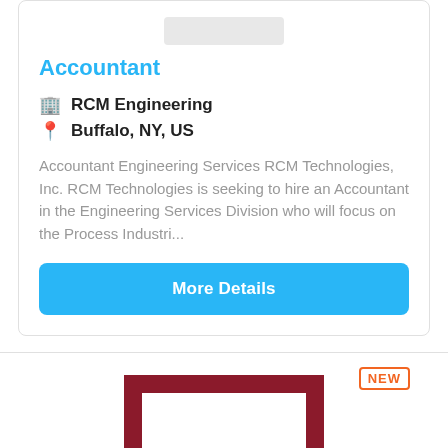[Figure (logo): Company logo placeholder at top of first card]
Accountant
🏢 RCM Engineering
📍 Buffalo, NY, US
Accountant Engineering Services RCM Technologies, Inc. RCM Technologies is seeking to hire an Accountant in the Engineering Services Division who will focus on the Process Industri...
More Details
NEW
[Figure (logo): Robert Half (rh) company logo — dark red square with white 'rh' letters inside a white square frame]